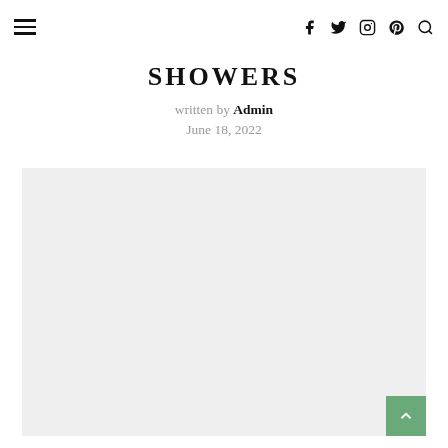SHOWERS — written by Admin — June 18, 2022
SHOWERS
written by Admin
June 18, 2022
[Figure (photo): Large light gray image placeholder for a showers article]